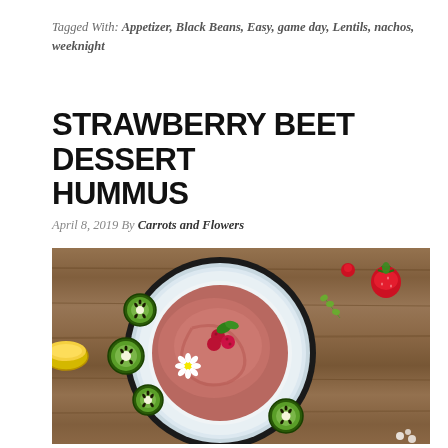Tagged With: Appetizer, Black Beans, Easy, game day, Lentils, nachos, weeknight
STRAWBERRY BEET DESSERT HUMMUS
April 8, 2019 By Carrots and Flowers
[Figure (photo): Overhead photo of a plate of strawberry beet dessert hummus garnished with raspberries, kiwi slices, a daisy, and mint leaves, on a wooden surface with strawberries nearby and a small bowl of yellow liquid to the side.]